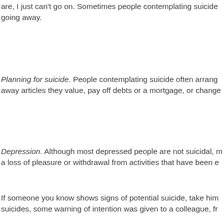are, I just can't go on. Sometimes people contemplating suicide talk about going away.
Planning for suicide. People contemplating suicide often arrange away articles they value, pay off debts or a mortgage, or change
Depression. Although most depressed people are not suicidal, a loss of pleasure or withdrawal from activities that have been e
If someone you know shows signs of potential suicide, take him suicides, some warning of intention was given to a colleague, fr